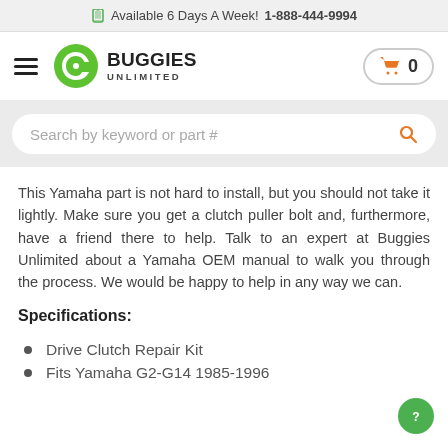Available 6 Days A Week! 1-888-444-9994
[Figure (logo): Buggies Unlimited logo with green circular B icon and bold text BUGGIES UNLIMITED]
This Yamaha part is not hard to install, but you should not take it lightly. Make sure you get a clutch puller bolt and, furthermore, have a friend there to help. Talk to an expert at Buggies Unlimited about a Yamaha OEM manual to walk you through the process. We would be happy to help in any way we can.
Specifications:
Drive Clutch Repair Kit
Fits Yamaha G2-G14 1985-1996